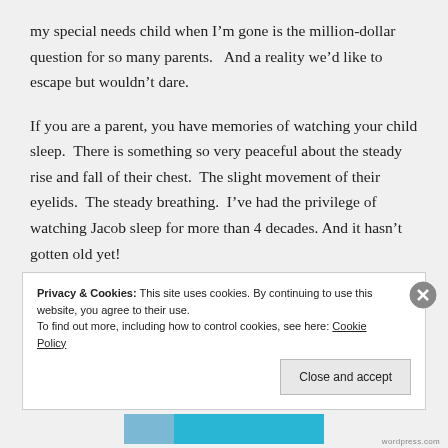my special needs child when I'm gone is the million-dollar question for so many parents.   And a reality we'd like to escape but wouldn't dare.
If you are a parent, you have memories of watching your child sleep.  There is something so very peaceful about the steady rise and fall of their chest.  The slight movement of their eyelids.  The steady breathing.  I've had the privilege of watching Jacob sleep for more than 4 decades. And it hasn't gotten old yet!
Privacy & Cookies: This site uses cookies. By continuing to use this website, you agree to their use.
To find out more, including how to control cookies, see here: Cookie Policy
Close and accept